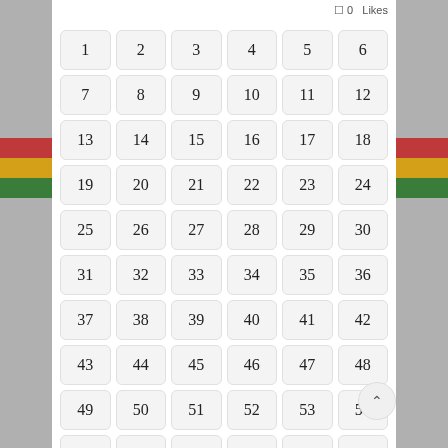0 Likes
| 1 | 2 | 3 | 4 | 5 | 6 |
| 7 | 8 | 9 | 10 | 11 | 12 |
| 13 | 14 | 15 | 16 | 17 | 18 |
| 19 | 20 | 21 | 22 | 23 | 24 |
| 25 | 26 | 27 | 28 | 29 | 30 |
| 31 | 32 | 33 | 34 | 35 | 36 |
| 37 | 38 | 39 | 40 | 41 | 42 |
| 43 | 44 | 45 | 46 | 47 | 48 |
| 49 | 50 | 51 | 52 | 53 | 54 |
| 55 | 56 | 57 | 58 | 59 | 60 |
| 61 | 62 | 63 | 64 | 65 | 66 |